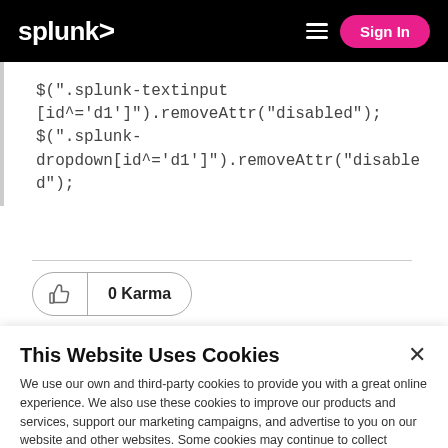splunk> Sign In
$(".splunk-textinput [id^='d1']").removeAttr("disabled");
$(".splunk-dropdown[id^='d1']").removeAttr("disabled");
0 Karma
This Website Uses Cookies
We use our own and third-party cookies to provide you with a great online experience. We also use these cookies to improve our products and services, support our marketing campaigns, and advertise to you on our website and other websites. Some cookies may continue to collect information after you have left our website. Learn more here ›
Accept Cookies
Cookies Settings ›